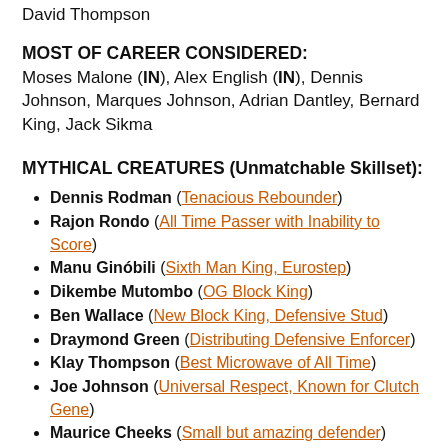Bob Lanier, Pete Maravich, Bobby Jones, Mark Johnson, David Thompson
MOST OF CAREER CONSIDERED:
Moses Malone (IN), Alex English (IN), Dennis Johnson, Marques Johnson, Adrian Dantley, Bernard King, Jack Sikma
MYTHICAL CREATURES (Unmatchable Skillset):
Dennis Rodman (Tenacious Rebounder)
Rajon Rondo (All Time Passer with Inability to Score)
Manu Ginóbili (Sixth Man King, Eurostep)
Dikembe Mutombo (OG Block King)
Ben Wallace (New Block King, Defensive Stud)
Draymond Green (Distributing Defensive Enforcer)
Klay Thompson (Best Microwave of All Time)
Joe Johnson (Universal Respect, Known for Clutch Gene)
Maurice Cheeks (Small but amazing defender)